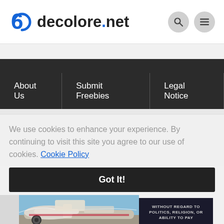decolore.net
About Us | Submit Freebies | Legal Notice
We use cookies to enhance your experience. By continuing to visit this site you agree to our use of cookies. Cookie Policy
Got It!
[Figure (photo): Cargo airplane on tarmac with freight loading]